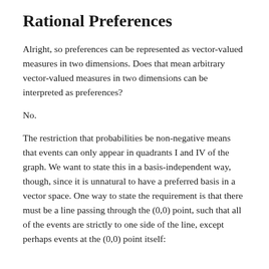Rational Preferences
Alright, so preferences can be represented as vector-valued measures in two dimensions. Does that mean arbitrary vector-valued measures in two dimensions can be interpreted as preferences?
No.
The restriction that probabilities be non-negative means that events can only appear in quadrants I and IV of the graph. We want to state this in a basis-independent way, though, since it is unnatural to have a preferred basis in a vector space. One way to state the requirement is that there must be a line passing through the (0,0) point, such that all of the events are strictly to one side of the line, except perhaps events at the (0,0) point itself: